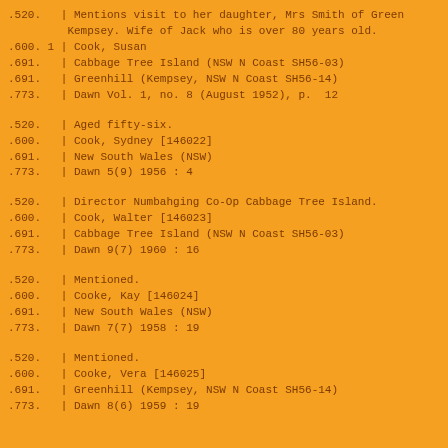.520.   | Mentions visit to her daughter, Mrs Smith of Green
         Kempsey. Wife of Jack who is over 80 years old.
.600. 1 | Cook, Susan
.691.   | Cabbage Tree Island (NSW N Coast SH56-03)
.691.   | Greenhill (Kempsey, NSW N Coast SH56-14)
.773.   | Dawn Vol. 1, no. 8 (August 1952), p.  12
.520.   | Aged fifty-six.
.600.   | Cook, Sydney [146022]
.691.   | New South Wales (NSW)
.773.   | Dawn 5(9) 1956 : 4
.520.   | Director Numbahging Co-Op Cabbage Tree Island.
.600.   | Cook, Walter [146023]
.691.   | Cabbage Tree Island (NSW N Coast SH56-03)
.773.   | Dawn 9(7) 1960 : 16
.520.   | Mentioned.
.600.   | Cooke, Kay [146024]
.691.   | New South Wales (NSW)
.773.   | Dawn 7(7) 1958 : 19
.520.   | Mentioned.
.600.   | Cooke, Vera [146025]
.691.   | Greenhill (Kempsey, NSW N Coast SH56-14)
.773.   | Dawn 8(6) 1959 : 19